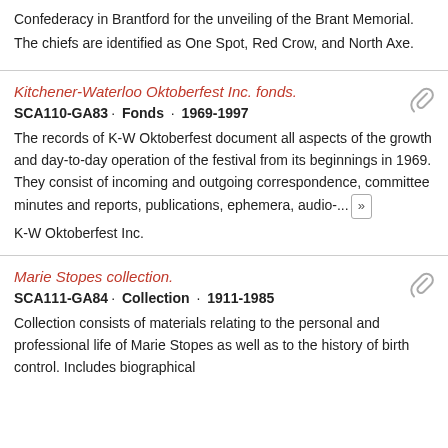Confederacy in Brantford for the unveiling of the Brant Memorial. The chiefs are identified as One Spot, Red Crow, and North Axe.
Kitchener-Waterloo Oktoberfest Inc. fonds.
SCA110-GA83 · Fonds · 1969-1997
The records of K-W Oktoberfest document all aspects of the growth and day-to-day operation of the festival from its beginnings in 1969. They consist of incoming and outgoing correspondence, committee minutes and reports, publications, ephemera, audio-...
K-W Oktoberfest Inc.
Marie Stopes collection.
SCA111-GA84 · Collection · 1911-1985
Collection consists of materials relating to the personal and professional life of Marie Stopes as well as to the history of birth control. Includes biographical